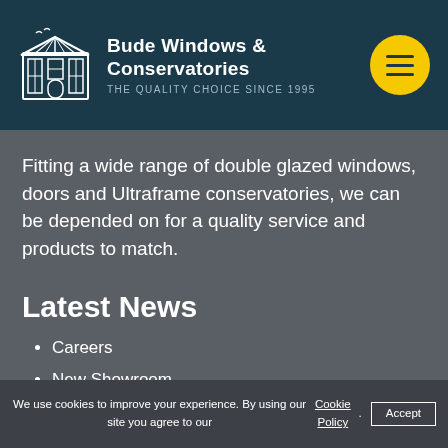Bude Windows & Conservatories — THE QUALITY CHOICE SINCE 1995
Fitting a wide range of double glazed windows, doors and Ultraframe conservatories, we can be depended on for a quality service and products to match.
Latest News
Careers
New Showroom
Heritage Flush Sash Windows by Deceuninck
We use cookies to improve your experience. By using our site you agree to our Cookie Policy. Accept